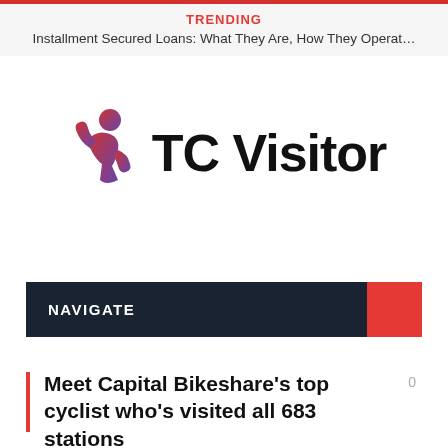TRENDING
Installment Secured Loans: What They Are, How They Operat...
[Figure (logo): TC Visitor logo with a person icon in red-to-purple gradient waving, next to the text TC Visitor in bold black]
NAVIGATE
Meet Capital Bikeshare's top cyclist who's visited all 683 stations